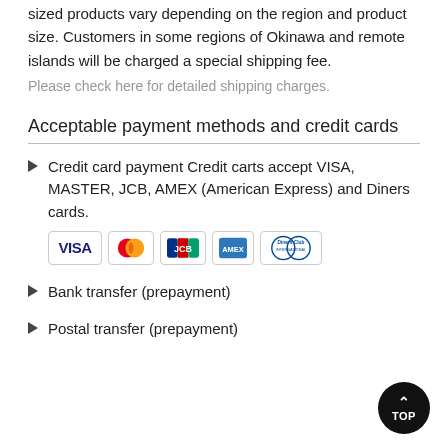sized products vary depending on the region and product size. Customers in some regions of Okinawa and remote islands will be charged a special shipping fee.
Please check here for detailed shipping charges.
Acceptable payment methods and credit cards
Credit card payment Credit carts accept VISA, MASTER, JCB, AMEX (American Express) and Diners cards.
[Figure (logo): Credit card logos: VISA, Mastercard, JCB, American Express, Diners Club International]
Bank transfer (prepayment)
Postal transfer (prepayment)